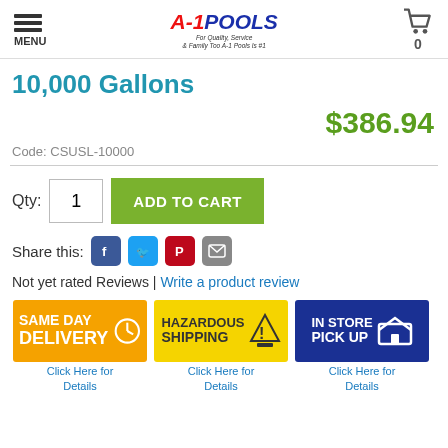MENU | A-1 Pools | Cart 0
10,000 Gallons
$386.94
Code: CSUSL-10000
Qty: 1  ADD TO CART
Share this:
Not yet rated Reviews |  Write a product review
[Figure (infographic): Three badges: Same Day Delivery (orange), Hazardous Shipping (yellow), In Store Pick Up (navy blue)]
Click Here for Details | Click Here for Details | Click Here for Details